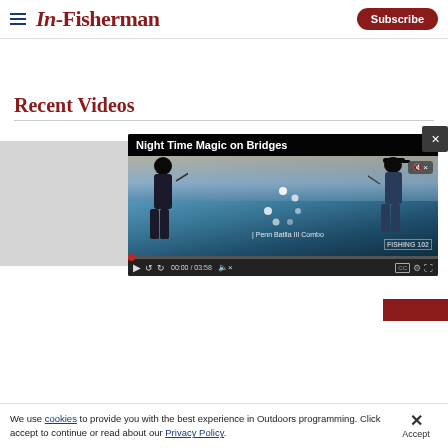In-Fisherman | Subscribe
Recent Videos
[Figure (screenshot): Video player showing 'Night Time Magic on Bridges' fishing video. Two anglers silhouetted against a twilight sky on a bridge. Controls show 00:00 / 03:58. Penn Batlla III Combo sponsor text visible. Close X button top right. FISHING 102 watermark bottom right.]
We use cookies to provide you with the best experience in Outdoors programming. Click accept to continue or read about our Privacy Policy.